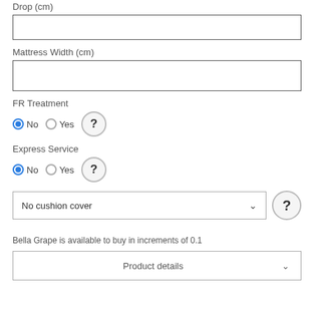Drop (cm)
Mattress Width (cm)
FR Treatment
No  Yes
Express Service
No  Yes
No cushion cover
Bella Grape is available to buy in increments of 0.1
Product details